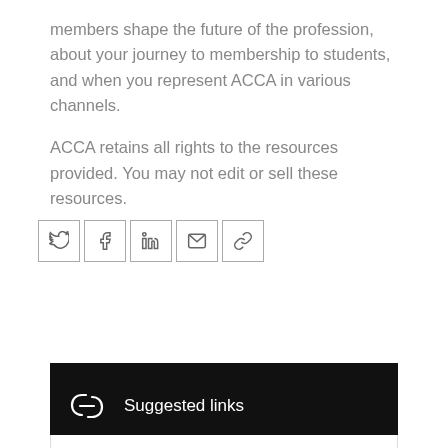members shape the future of the profession, about your journey to membership to students, and when you represent ACCA in various channels.

ACCA retains all rights to the resources provided. You may not edit or sell these resources.
[Figure (other): Social sharing icons: Twitter, Facebook, LinkedIn, Email, Link]
Suggested links
The power of digital